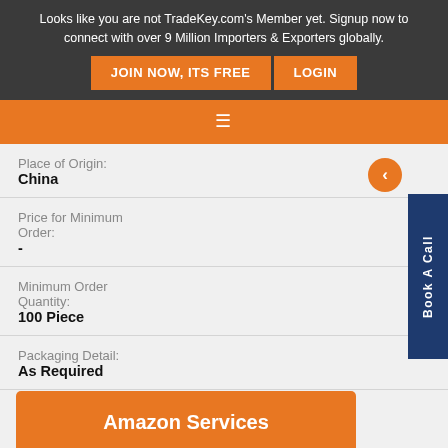Looks like you are not TradeKey.com's Member yet. Signup now to connect with over 9 Million Importers & Exporters globally. JOIN NOW, ITS FREE  LOGIN
Place of Origin: China
Price for Minimum Order: -
Minimum Order Quantity: 100 Piece
Packaging Detail: As Required
[Figure (screenshot): Amazon Services orange button overlay]
Supplying Ability: 500 Piece per Month